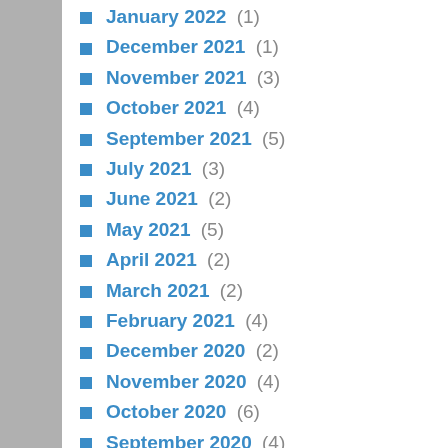January 2022 (1)
December 2021 (1)
November 2021 (3)
October 2021 (4)
September 2021 (5)
July 2021 (3)
June 2021 (2)
May 2021 (5)
April 2021 (2)
March 2021 (2)
February 2021 (4)
December 2020 (2)
November 2020 (4)
October 2020 (6)
September 2020 (4)
August 2020 (1)
July 2020 (1)
June 2020 (4)
April 2020 (4)
March 2020 (2)
February 2020 (4)
January 2020 (2)